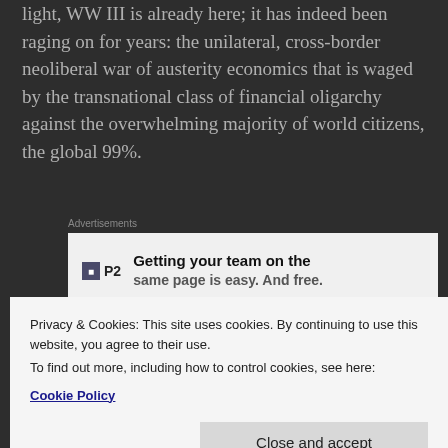light, WW III is already here; it has indeed been raging on for years: the unilateral, cross-border neoliberal war of austerity economics that is waged by the transnational class of financial oligarchy against the overwhelming majority of world citizens, the global 99%.
[Figure (screenshot): Advertisement banner: P2 logo with text 'Getting your team on the same page is easy. And free.']
Globalization of capital and interdependence of world markets has reached an interlocking degree averse to another wholesale international war that
Privacy & Cookies: This site uses cookies. By continuing to use this website, you agree to their use.
To find out more, including how to control cookies, see here:
Cookie Policy
Close and accept